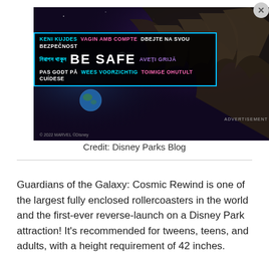[Figure (photo): Marvel Guardians of the Galaxy: Cosmic Rewind promotional image showing a dark space scene with a large alien creature claw reaching across, a planet Earth visible, and a multilingual 'BE SAFE' safety banner overlay with text in multiple languages including English, Bengali, Czech, Norwegian, Dutch, Estonian, Portuguese, Romanian, and Somali.]
Credit: Disney Parks Blog
Guardians of the Galaxy: Cosmic Rewind is one of the largest fully enclosed rollercoasters in the world and the first-ever reverse-launch on a Disney Park attraction! It's recommended for tweens, teens, and adults, with a height requirement of 42 inches.